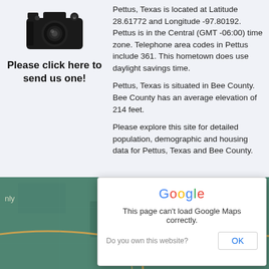[Figure (photo): Camera icon photograph]
Please click here to send us one!
Pettus, Texas is located at Latitude 28.61772 and Longitude -97.80192. Pettus is in the Central (GMT -06:00) time zone. Telephone area codes in Pettus include 361. This hometown does use daylight savings time.
Pettus, Texas is situated in Bee County. Bee County has an average elevation of 214 feet.
Please explore this site for detailed population, demographic and housing data for Pettus, Texas and Bee County.
[Figure (map): Google Maps embed showing Pettus, Texas area with error dialog overlay. Map shows green terrain with road lines. A dialog box reads: Google / This page can't load Google Maps correctly. / Do you own this website? / OK]